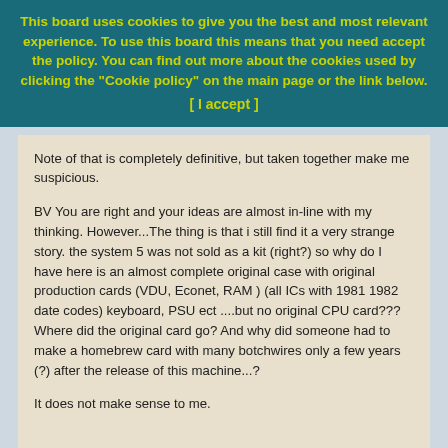This board uses cookies to give you the best and most relevant experience. To use this board this means that you need accept the policy. You can find out more about the cookies used by clicking the "Cookie policy" on the main page or the link below.
[ I accept ]
Note of that is completely definitive, but taken together make me suspicious.
BV You are right and your ideas are almost in-line with my thinking. However...The thing is that i still find it a very strange story. the system 5 was not sold as a kit (right?) so why do I have here is an almost complete original case with original production cards (VDU, Econet, RAM ) (all ICs with 1981 1982 date codes) keyboard, PSU ect ....but no original CPU card???
Where did the original card go? And why did someone had to make a homebrew card with many botchwires only a few years (?) after the release of this machine...?
It does not make sense to me.
The case and keyboard on the other hand look authentic.